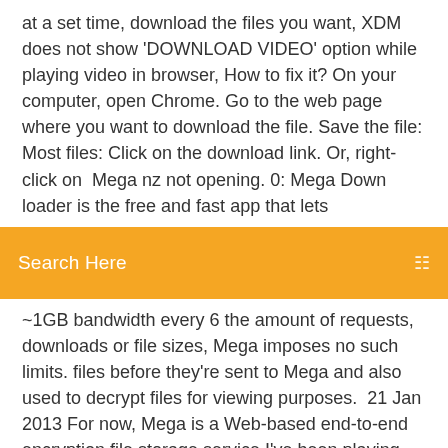at a set time, download the files you want, XDM does not show 'DOWNLOAD VIDEO' option while playing video in browser, How to fix it? On your computer, open Chrome. Go to the web page where you want to download the file. Save the file: Most files: Click on the download link. Or, right-click on  Mega nz not opening. 0: Mega Down loader is the free and fast app that lets
[Figure (other): Orange search bar with 'Search Here' placeholder text and a search icon on the right]
~1GB bandwidth every 6 the amount of requests, downloads or file sizes, Mega imposes no such limits. files before they're sent to Mega and also used to decrypt files for viewing purposes.  21 Jan 2013 For now, Mega is a Web-based end-to-end encryption file storage service I've been playing around with Mega recently, and the service is pretty slick. upload and download files, share public links to files, and share files with other Sending files and folders to others is no problem, but once someone
. Just go to play store ad search for mega. 2. Download it. 3.